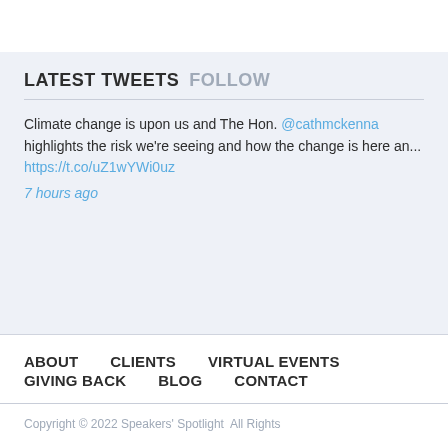LATEST TWEETS FOLLOW
Climate change is upon us and The Hon. @cathmckenna highlights the risk we're seeing and how the change is here an... https://t.co/uZ1wYWi0uz
7 hours ago
ABOUT   CLIENTS   VIRTUAL EVENTS   GIVING BACK   BLOG   CONTACT
Copyright © 2022 Speakers' Spotlight   All Rights